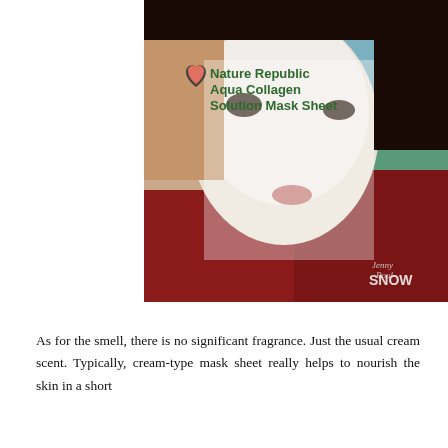[Figure (photo): A person wearing a white Nature Republic Aqua Collagen Solution Mask Sheet on their face, wearing a red top. The image has a SNOW watermark in the bottom right corner and the product name overlaid in green text with a heart logo on the upper left of the image.]
As for the smell, there is no significant fragrance. Just the usual cream scent. Typically, cream-type mask sheet really helps to nourish the skin in a short